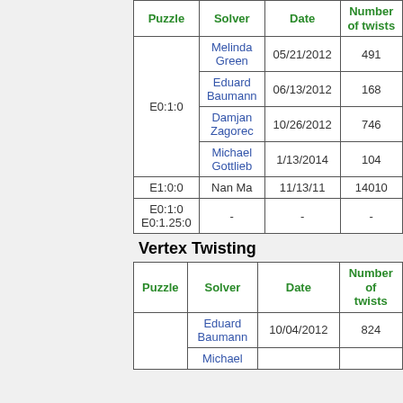| Puzzle | Solver | Date | Number of twists |
| --- | --- | --- | --- |
| E0:1:0 | Melinda Green | 05/21/2012 | 491 |
| E0:1:0 | Eduard Baumann | 06/13/2012 | 168 |
| E0:1:0 | Damjan Zagorec | 10/26/2012 | 746 |
| E0:1:0 | Michael Gottlieb | 1/13/2014 | 104 |
| E1:0:0 | Nan Ma | 11/13/11 | 14010 |
| E0:1:0
E0:1.25:0 | - | - | - |
Vertex Twisting
| Puzzle | Solver | Date | Number of twists |
| --- | --- | --- | --- |
|  | Eduard Baumann | 10/04/2012 | 824 |
|  | Michael ... |  |  |